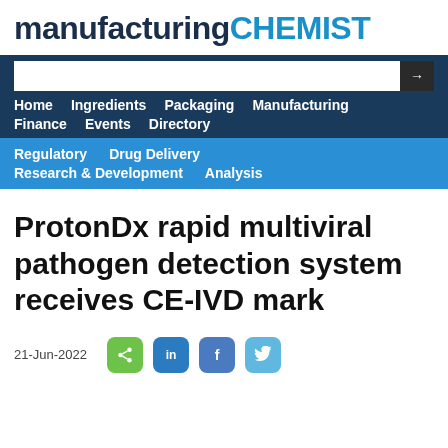manufacturing CHEMIST
[Figure (screenshot): Website navigation bar with search input and dark blue nav links: Home, Ingredients, Packaging, Manufacturing, Finance, Events, Directory]
[Figure (screenshot): Lighter blue secondary navigation bar with links: Regulatory, Drug Delivery, Research & Development, Analysis]
ProtonDx rapid multiviral pathogen detection system receives CE-IVD mark
21-Jun-2022